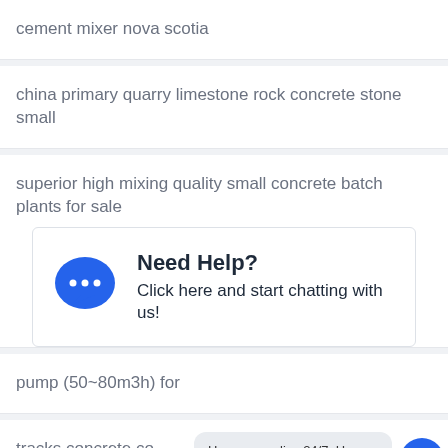cement mixer nova scotia
china primary quarry limestone rock concrete stone small
superior high mixing quality small concrete batch plants for sale
[Figure (infographic): Chat popup box with blue speech bubble icon and text 'Need Help? Click here and start chatting with us!']
pump (50~80m3h) for
tracks concrete co information
[Figure (screenshot): Live chat widget tooltip: 'Hey, we are live 24/7. How may I help you?' with blue chat button]